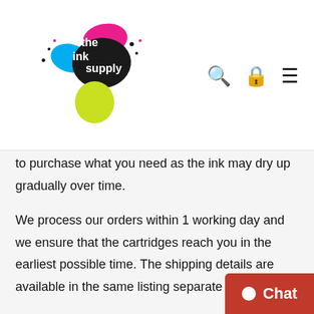[Figure (logo): The Ink Supply logo with colorful ink splatter design including pink, cyan, black, and yellow/green blobs with text 'the ink supply']
to purchase what you need as the ink may dry up gradually over time.
We process our orders within 1 working day and we ensure that the cartridges reach you in the earliest possible time. The shipping details are available in the same listing separate tab.
We sincerely hope we will see soon and be sure to shop with confidence with the print toner, label cartridge experts!